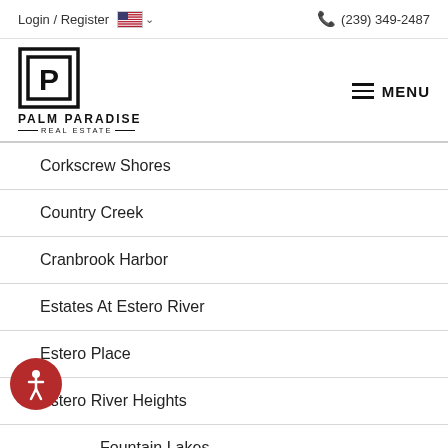Login / Register  (239) 349-2487
[Figure (logo): Palm Paradise Real Estate logo with stylized P icon and text PALM PARADISE REAL ESTATE]
Corkscrew Shores
Country Creek
Cranbrook Harbor
Estates At Estero River
Estero Place
Estero River Heights
Fountain Lakes
Grandezza